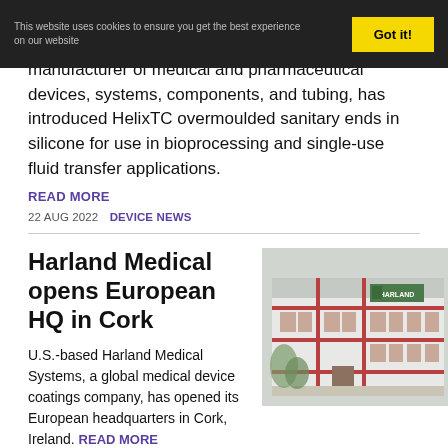This website uses cookies to ensure you get the best experience on our website
manufacturer of medical and pharmaceutical devices, systems, components, and tubing, has introduced HelixTC overmoulded sanitary ends in silicone for use in bioprocessing and single-use fluid transfer applications.
READ MORE
22 AUG 2022   DEVICE NEWS
Harland Medical opens European HQ in Cork
U.S.-based Harland Medical Systems, a global medical device coatings company, has opened its European headquarters in Cork, Ireland. READ MORE